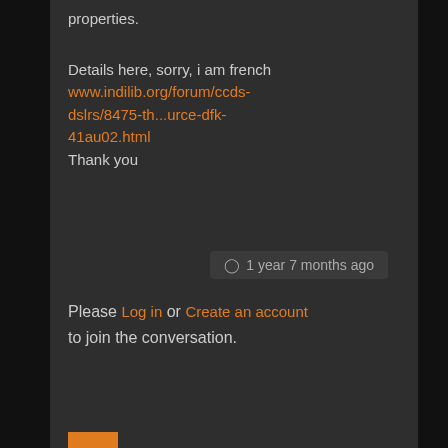properties.
Details here, sorry, i am french
www.indilib.org/forum/ccds-dslrs/8475-th...urce-dfk-41au02.html
Thank you
1 year 7 months ago
Please Log in or Create an account to join the conversation.